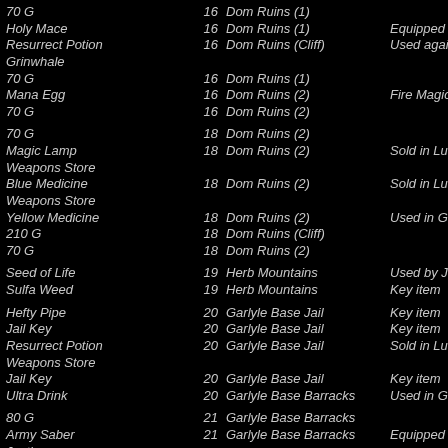| Item | Level | Location | Notes |
| --- | --- | --- | --- |
| 70 G | 16 | Dom Ruins (1) |  |
| Holy Mace | 16 | Dom Ruins (1) | Equipped by Justin |
| Resurrect Potion | 16 | Dom Ruins (Cliff) | Used against Grinwhale |
| 70 G | 16 | Dom Ruins (1) |  |
| Mana Egg | 16 | Dom Ruins (2) | Fire Magic for Justin |
| 70 G | 16 | Dom Ruins (2) |  |
|  |  |  |  |
| 70 G | 18 | Dom Ruins (2) |  |
| Magic Lamp | 18 | Dom Ruins (2) | Sold in Luc Village Weapons Store |
| Blue Medicine | 18 | Dom Ruins (2) | Sold in Luc Village Weapons Store |
| Yellow Medicine | 18 | Dom Ruins (2) | Used in Gaia Core |
| 210 G | 18 | Dom Ruins (Cliff) |  |
| 70 G | 18 | Dom Ruins (2) |  |
|  |  |  |  |
| Seed of Life | 19 | Herb Mountains | Used by Justin |
| Sulfa Weed | 19 | Herb Mountains | Key item |
|  |  |  |  |
| Hefty Pipe | 20 | Garlyle Base Jail | Key item |
| Jail Key | 20 | Garlyle Base Jail | Key item |
| Resurrect Potion | 20 | Garlyle Base Jail | Sold in Luc Village Weapons Store |
| Jail Key | 20 | Garlyle Base Jail | Key item |
| Ultra Drink | 20 | Garlyle Base Barracks | Used in Gaia Core |
|  |  |  |  |
| 80 G | 21 | Garlyle Base Barracks |  |
| Army Saber | 21 | Garlyle Base Barracks | Equipped by Justin |